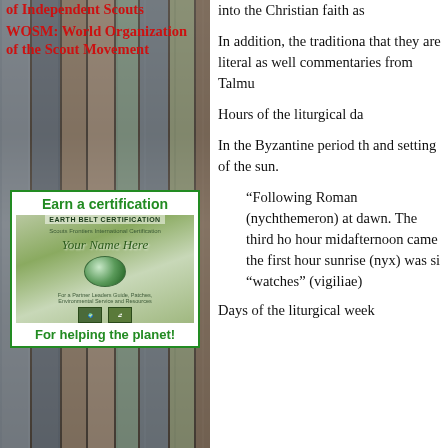of Independent Scouts
WOSM: World Organization of the Scout Movement
[Figure (other): Advertisement box with green border. Headline: 'Earn a certification'. Shows an Earth Belt Certification graphic with cursive text 'Your Name Here' and globe imagery. Footer: 'For helping the planet!']
into the Christian faith as
In addition, the traditional that they are literal as well commentaries from Talmu
Hours of the liturgical da
In the Byzantine period th and setting of the sun.
“Following Roman (nychthemeron) at dawn. The third ho hour midafternoon came the first hour sunrise (nyx) was si “watches” (vigiliae)
Days of the liturgical week